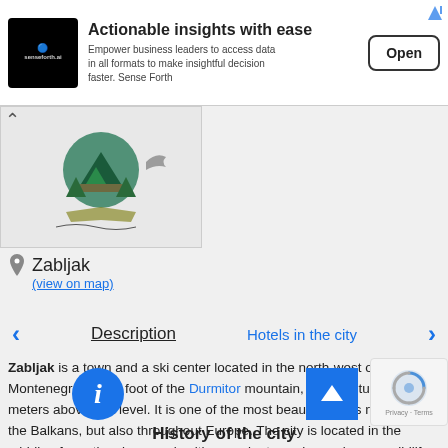[Figure (screenshot): Advertisement banner for senseforth.ai - Actionable insights with ease. Empower business leaders to access data in all formats to make insightful decision faster. Sense Forth. Open button.]
[Figure (logo): Zabljak city logo or emblem with nature imagery (mountains, trees, dinosaur)]
Zabljak
(view on map)
Description | Hotels in the city
Zabljak is a town and a ski center located in the north-west of Montenegro, at the foot of the Durmitor mountain, at an altitude of 1465 meters above sea level. It is one of the most beautiful cities not only in the Balkans, but also throughout Europe. The city is located in the middle of a national reservoir with rare plant species and a rare wildlife among the pine forests that UNESCO included in the W eritage List - with its unique natural resource
History of the city